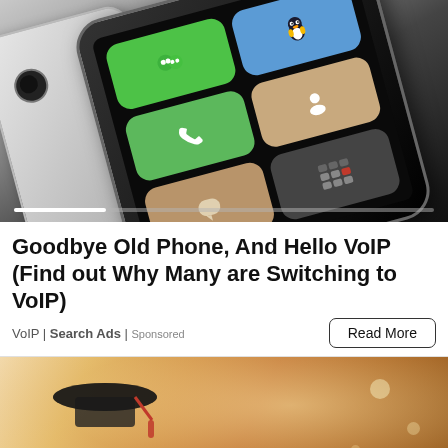[Figure (photo): Two smartphones angled on a dark background, one black with app icons (WeChat, QQ, Phone, Contacts, Messages, Calculator) on screen, one silver/white, with a white progress bar at the bottom of the image.]
Goodbye Old Phone, And Hello VoIP (Find out Why Many are Switching to VoIP)
VoIP | Search Ads | Sponsored
Read More
[Figure (photo): Blurred warm-toned photo of a graduation cap and tassel, with soft bokeh light circles in the background.]